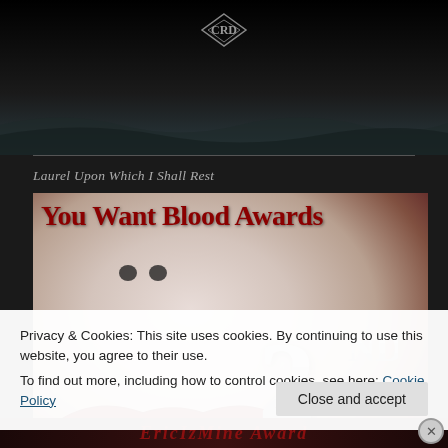[Figure (screenshot): Top dark background with diamond/logo design at the top center]
Laurel Upon Which I Shall Rest
[Figure (illustration): You Want Blood Awards banner image showing a close-up of a face with red lips and a 2ND PLACE badge in silver metallic text]
Privacy & Cookies: This site uses cookies. By continuing to use this website, you agree to their use.
To find out more, including how to control cookies, see here: Cookie Policy
[Figure (screenshot): Partial bottom image showing gothic red text reading 'EricIzMine Award']